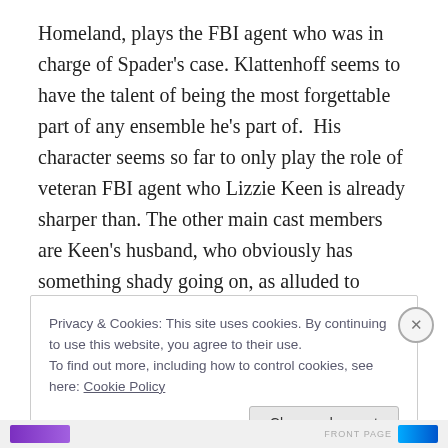Homeland, plays the FBI agent who was in charge of Spader's case. Klattenhoff seems to have the talent of being the most forgettable part of any ensemble he's part of.  His character seems so far to only play the role of veteran FBI agent who Lizzie Keen is already sharper than. The other main cast members are Keen's husband, who obviously has something shady going on, as alluded to earlier, and the boss in charge of the FBI team, who we don't see a lot of in the first episode. His only role is to be the official who gradually accedes to Spader's demands.
Privacy & Cookies: This site uses cookies. By continuing to use this website, you agree to their use.
To find out more, including how to control cookies, see here: Cookie Policy